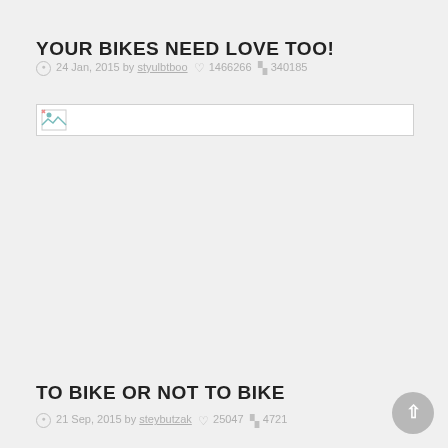YOUR BIKES NEED LOVE TOO!
24 Jan, 2015 by styulbtboo  1466266  340185
[Figure (photo): Broken/unloaded image placeholder]
TO BIKE OR NOT TO BIKE
21 Sep, 2015 by steybutzak  25047  4721